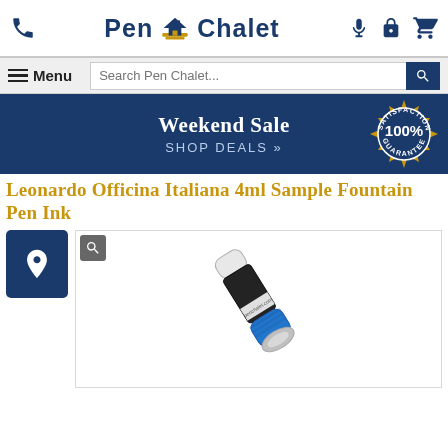Pen Chalet
[Figure (screenshot): Pen Chalet e-commerce website header with logo, phone icon, microphone icon, lock icon, and cart icon]
[Figure (infographic): Weekend Sale promotional banner with 'SHOP DEALS' link and 100% Satisfaction Guarantee badge]
Leonardo Officina Italiana 4ml Sample Fountain Pen Ink
[Figure (photo): Leonardo Officina Italiana 4ml sample fountain pen ink vial with blue cap and dark ink]